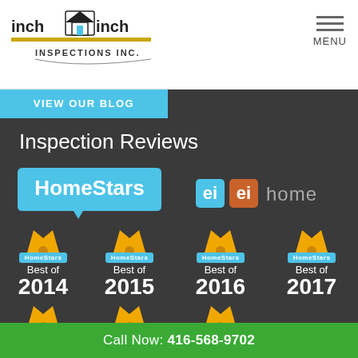[Figure (logo): Inch by Inch Inspections Inc. company logo with house icon]
[Figure (logo): Hamburger menu icon with MENU label]
VIEW OUR BLOG
Inspection Reviews
[Figure (logo): HomeStars logo in blue speech bubble]
[Figure (logo): ei ei home logo with blue and orange house icons]
[Figure (infographic): HomeStars Best of 2014 award badge with crown]
[Figure (infographic): HomeStars Best of 2015 award badge with crown]
[Figure (infographic): HomeStars Best of 2016 award badge with crown]
[Figure (infographic): HomeStars Best of 2017 award badge with crown]
[Figure (infographic): HomeStars Best of (year) award badge with crown - partially visible]
[Figure (infographic): HomeStars Best of (year) award badge with crown - partially visible]
[Figure (infographic): HomeStars Best of (year) award badge with crown - partially visible]
Call Now: 416-568-9702